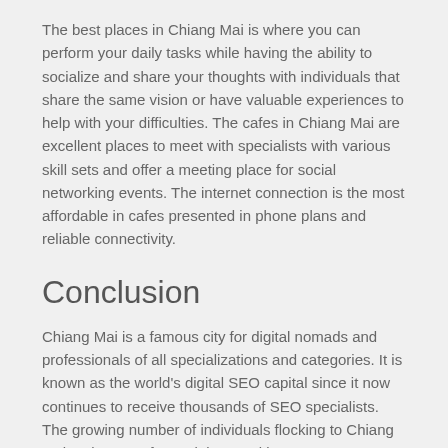The best places in Chiang Mai is where you can perform your daily tasks while having the ability to socialize and share your thoughts with individuals that share the same vision or have valuable experiences to help with your difficulties. The cafes in Chiang Mai are excellent places to meet with specialists with various skill sets and offer a meeting place for social networking events. The internet connection is the most affordable in cafes presented in phone plans and reliable connectivity.
Conclusion
Chiang Mai is a famous city for digital nomads and professionals of all specializations and categories. It is known as the world's digital SEO capital since it now continues to receive thousands of SEO specialists. The growing number of individuals flocking to Chiang Mai makes way for social networking events, seminars, personnel training, and meetings.